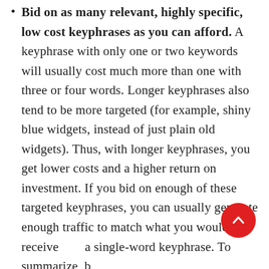Bid on as many relevant, highly specific, low cost keyphrases as you can afford. A keyphrase with only one or two keywords will usually cost much more than one with three or four words. Longer keyphrases also tend to be more targeted (for example, shiny blue widgets, instead of just plain old widgets). Thus, with longer keyphrases, you get lower costs and a higher return on investment. If you bid on enough of these targeted keyphrases, you can usually generate enough traffic to match what you would receive on a single-word keyphrase. To summarize, bidding on shiny blue widgets, can enjoy utility